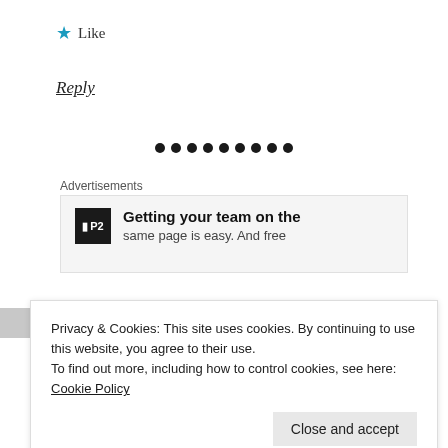★ Like
Reply
••••••••
Advertisements
[Figure (other): P2 advertisement banner reading 'Getting your team on the same page is easy. And free']
Privacy & Cookies: This site uses cookies. By continuing to use this website, you agree to their use. To find out more, including how to control cookies, see here: Cookie Policy
Close and accept
goodness. Thank you for sharing. I enjoyed